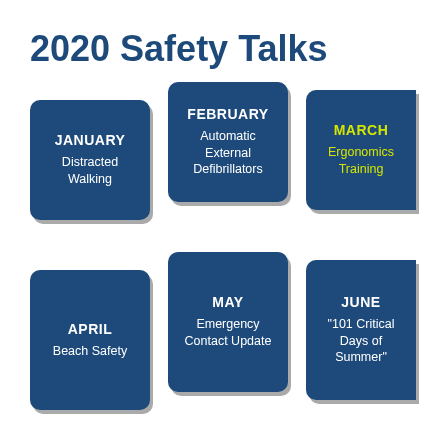2020 Safety Talks
[Figure (infographic): Grid of monthly safety talk cards for 2020. Each card shows a month name (bold, white or yellow) and a topic. January: Distracted Walking; February: Automatic External Defibrillators; March: Ergonomics Training (yellow); April: Beach Safety; May: Emergency Contact Update; June: '101 Critical Days of Summer'; July, August, September (partially visible at bottom).]